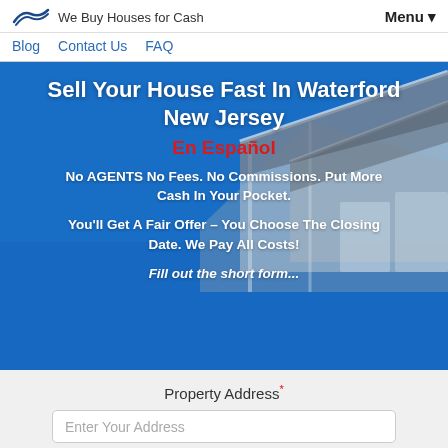We Buy Houses for Cash
Blog  Contact Us  FAQ  Menu
Sell Your House Fast In Waterford New Jersey
En Español
No AGENTS No Fees. No Commissions. Put More Cash In Your Pocket.
You'll Get A Fair Offer – You Choose The Closing Date. We Pay All Costs!
Fill out the short form...
Property Address*
Enter Your Address